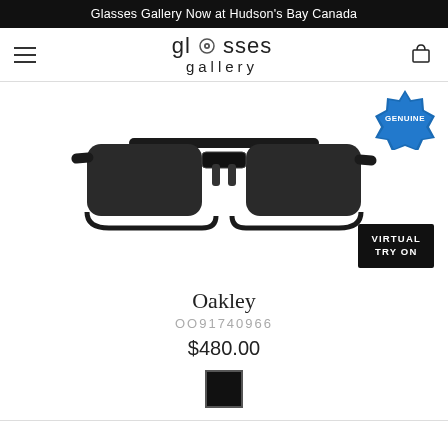Glasses Gallery Now at Hudson's Bay Canada
[Figure (logo): Glasses Gallery logo with circular emblem and text 'glasses gallery']
[Figure (photo): Oakley black rimless sport sunglasses product photo with 'GENUINE' badge and 'VIRTUAL TRY ON' button]
Oakley
OO91740966
$480.00
[Figure (other): Black color swatch square]